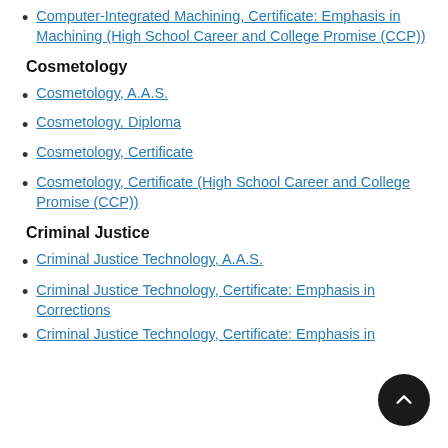Computer-Integrated Machining, Certificate: Emphasis in Machining (High School Career and College Promise (CCP))
Cosmetology
Cosmetology, A.A.S.
Cosmetology, Diploma
Cosmetology, Certificate
Cosmetology, Certificate (High School Career and College Promise (CCP))
Criminal Justice
Criminal Justice Technology, A.A.S.
Criminal Justice Technology, Certificate: Emphasis in Corrections
Criminal Justice Technology, Certificate: Emphasis in Investigation Principles